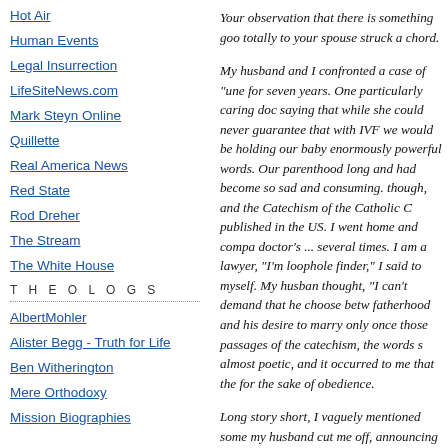Hot Air
Human Events
Legal Insurrection
LifeSiteNews.com
Mark Steyn Online
Quillette
Real America News
Red State
Rod Dreher
The Stream
The White House
T H E O L O G S
AlbertMohler
Alister Begg - Truth for Life
Ben Witherington
Mere Orthodoxy
Mission Biographies
Your observation that there is something goo totally to your spouse struck a chord.
My husband and I confronted a case of "une for seven years. One particularly caring doc saying that while she could never guarantee that with IVF we would be holding our baby enormously powerful words. Our parenthood long and had become so sad and consuming. though, and the Catechism of the Catholic C published in the US. I went home and compa doctor's ... several times. I am a lawyer, "I'm loophole finder," I said to myself. My husban thought, "I can't demand that he choose betw fatherhood and his desire to marry only once those passages of the catechism, the words s almost poetic, and it occurred to me that the for the sake of obedience.
Long story short, I vaguely mentioned some my husband cut me off, announcing that we v he didn't want me to do anything that would giving yourself totally!